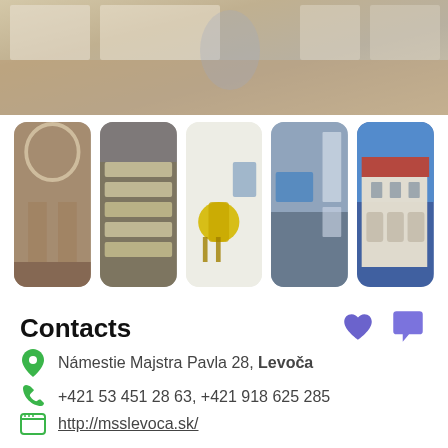[Figure (photo): Top banner photo showing interior of a museum or exhibition space with wooden floor and display panels on walls]
[Figure (photo): Row of five thumbnail photos showing various interior and exterior views of a museum: arched hallway, display drawers, yellow chair, corridor with exhibits, and exterior building facade]
Contacts
Námestie Majstra Pavla 28, Levoča
+421 53 451 28 63, +421 918 625 285
http://msslevoca.sk/
mss.levoca@gmail.com
opening hours